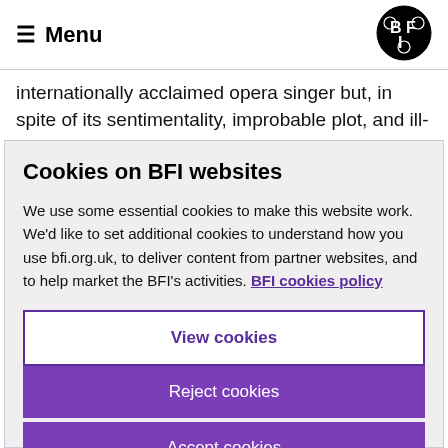≡ Menu | BFI logo
internationally acclaimed opera singer but, in spite of its sentimentality, improbable plot, and ill-
Cookies on BFI websites
We use some essential cookies to make this website work. We'd like to set additional cookies to understand how you use bfi.org.uk, to deliver content from partner websites, and to help market the BFI's activities. BFI cookies policy
View cookies
Reject cookies
Accept cookies